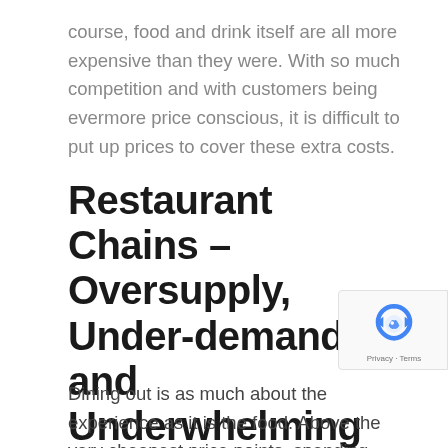course, food and drink itself are all more expensive than they were. With so much competition and with customers being evermore price conscious, it is difficult to put up prices to cover these extra costs.
Restaurant Chains – Oversupply, Under-demand and Underwhelming Experiences
Dining out is as much about the experience as it is the food. Above the very cheapest price points, spending money eating out should feel like...